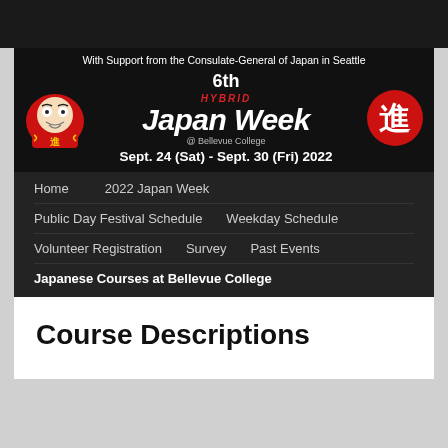[Figure (screenshot): Japan Week 6th banner with Daruma doll, Japanese kanji circle, text reading '6th HYBRID Japan Week @ Bellevue College Sept. 24 (Sat) - Sept. 30 (Fri) 2022', with support note from Consulate-General of Japan in Seattle]
Home
2022 Japan Week
Public Day Festival Schedule
Weekday Schedule
Volunteer Registration
Survey
Past Events
Japanese Courses at Bellevue College
Course Descriptions